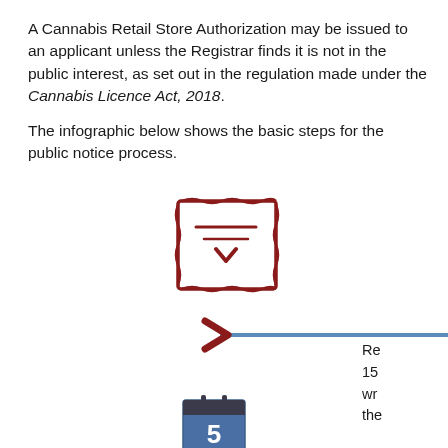A Cannabis Retail Store Authorization may be issued to an applicant unless the Registrar finds it is not in the public interest, as set out in the regulation made under the Cannabis Licence Act, 2018.
The infographic below shows the basic steps for the public notice process.
[Figure (infographic): Infographic showing public notice process steps. A placard/document icon in dark red at top center, followed by a dark red chevron arrow pointing right on a blue horizontal timeline. Below the timeline: 'Applicant posts placard at the proposed store', '15-day public notice period begins', 'Store location is searchable on iAGCO'. To the right partially visible text beginning with 'Re... 15... wr... the...' A calendar icon showing number 5 at the bottom center.]